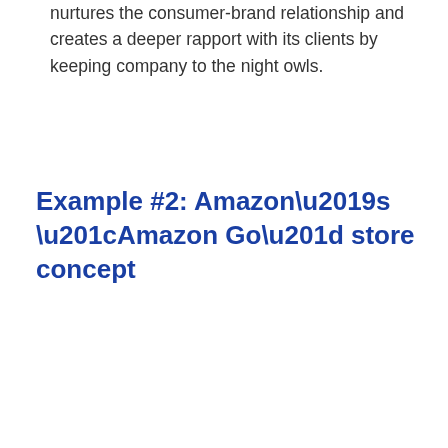nurtures the consumer-brand relationship and creates a deeper rapport with its clients by keeping company to the night owls.
Example #2: Amazon’s “Amazon Go” store concept